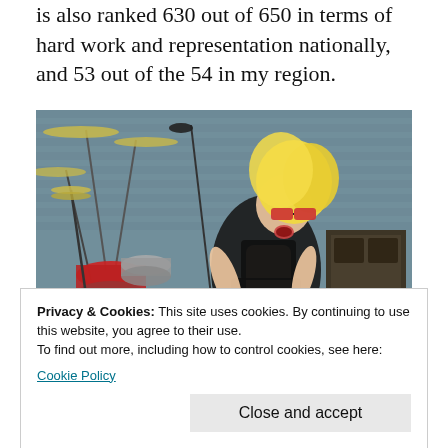is also ranked 630 out of 650 in terms of hard work and representation nationally, and 53 out of the 54 in my region.
[Figure (photo): A blonde performer in a black outfit leaning forward on stage, with a drum kit visible in the background against a grey brick wall.]
Privacy & Cookies: This site uses cookies. By continuing to use this website, you agree to their use.
To find out more, including how to control cookies, see here: Cookie Policy
[Figure (photo): Partial view of another photo below the cookie banner, showing a stage or musical equipment scene.]